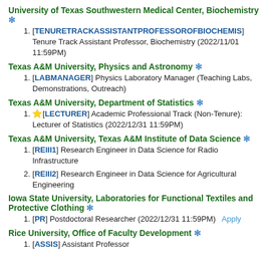University of Texas Southwestern Medical Center, Biochemistry ❄
[TENURETRACKASSISTANTPROFESSOROFBIOCHEMIS] Tenure Track Assistant Professor, Biochemistry (2022/11/01 11:59PM)
Texas A&M University, Physics and Astronomy ❄
[LABMANAGER] Physics Laboratory Manager (Teaching Labs, Demonstrations, Outreach)
Texas A&M University, Department of Statistics ❄
⭐[LECTURER] Academic Professional Track (Non-Tenure): Lecturer of Statistics (2022/12/31 11:59PM)
Texas A&M University, Texas A&M Institute of Data Science ❄
[REIII1] Research Engineer in Data Science for Radio Infrastructure
[REIII2] Research Engineer in Data Science for Agricultural Engineering
Iowa State University, Laboratories for Functional Textiles and Protective Clothing ❄
[PR] Postdoctoral Researcher (2022/12/31 11:59PM)   Apply
Rice University, Office of Faculty Development ❄
[ASSIS] Assistant Professor